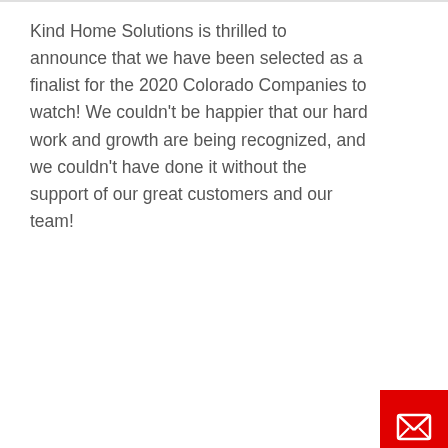Kind Home Solutions is thrilled to announce that we have been selected as a finalist for the 2020 Colorado Companies to watch! We couldn't be happier that our hard work and growth are being recognized, and we couldn't have done it without the support of our great customers and our team!
[Figure (other): Red vertical 'Contact Us' tab/button on the right side of the page with an envelope icon at the top and rotated text reading 'Contact Us']